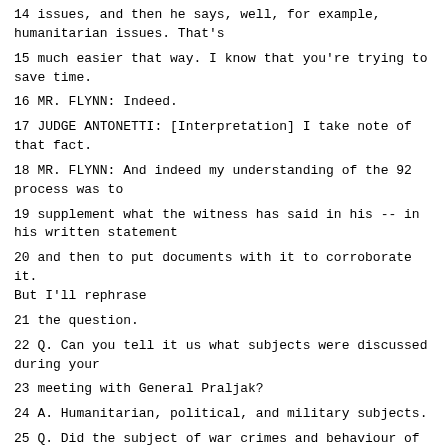14 issues, and then he says, well, for example, humanitarian issues. That's
15 much easier that way. I know that you're trying to save time.
16 MR. FLYNN: Indeed.
17 JUDGE ANTONETTI: [Interpretation] I take note of that fact.
18 MR. FLYNN: And indeed my understanding of the 92 process was to
19 supplement what the witness has said in his -- in his written statement
20 and then to put documents with it to corroborate it. But I'll rephrase
21 the question.
22 Q. Can you tell it us what subjects were discussed during your
23 meeting with General Praljak?
24 A. Humanitarian, political, and military subjects.
25 Q. Did the subject of war crimes and behaviour of troops on the field